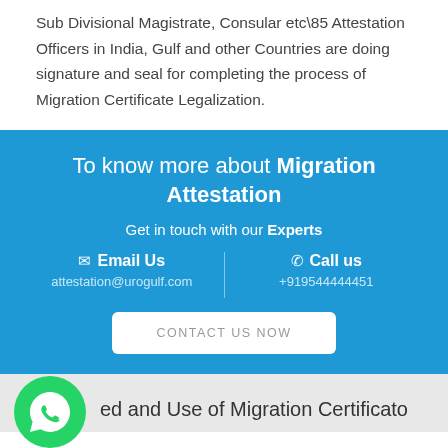Sub Divisional Magistrate, Consular etc\85 Attestation Officers in India, Gulf and other Countries are doing signature and seal for completing the process of Migration Certificate Legalization.
To know more about Migration Attestation
Get in touch with our Experts
✉ Email Us
attestation@urogulf.com
✆ Call us
+919544444451
CONTACT US NOW
ed and Use of Migration Certificate